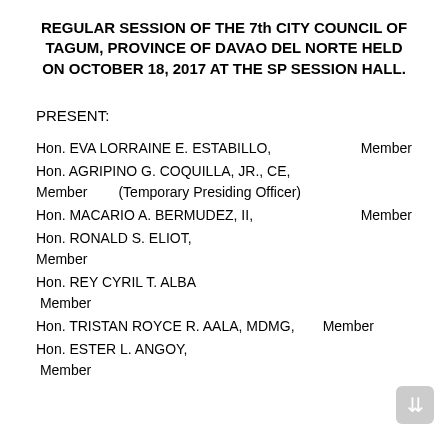REGULAR SESSION OF THE 7th CITY COUNCIL OF TAGUM, PROVINCE OF DAVAO DEL NORTE HELD ON OCTOBER 18, 2017 AT THE SP SESSION HALL.
PRESENT:
Hon. EVA LORRAINE E. ESTABILLO,    Member
Hon. AGRIPINO G. COQUILLA, JR., CE,
Member        (Temporary Presiding Officer)
Hon. MACARIO A. BERMUDEZ, II,    Member
Hon. RONALD S. ELIOT,
Member
Hon. REY CYRIL T. ALBA
 Member
Hon. TRISTAN ROYCE R. AALA, MDMG,    Member
Hon. ESTER L. ANGOY,
 Member